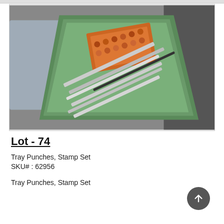[Figure (photo): Photograph of a green metal tray containing an orange box of stamp punches and several metal punch/chisel tools laid diagonally]
Lot - 74
Tray Punches, Stamp Set
SKU# : 62956
Tray Punches, Stamp Set